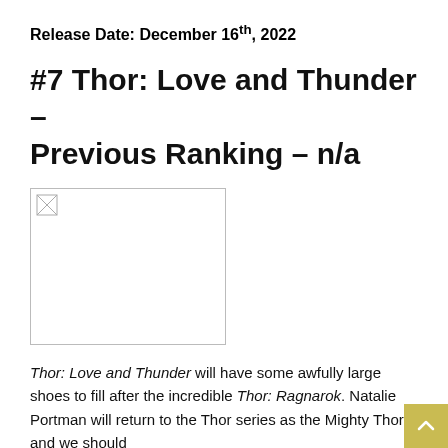Release Date: December 16th, 2022
#7 Thor: Love and Thunder – Previous Ranking – n/a
[Figure (photo): Broken image placeholder for Thor: Love and Thunder]
Thor: Love and Thunder will have some awfully large shoes to fill after the incredible Thor: Ragnarok. Natalie Portman will return to the Thor series as the Mighty Thor, and we should